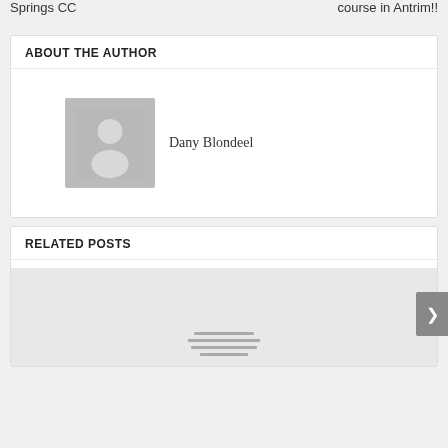Springs CC
course in Antrim!!
ABOUT THE AUTHOR
[Figure (illustration): Default user avatar placeholder image - grey silhouette of a person on grey background]
Dany Blondeel
RELATED POSTS
[Figure (illustration): Placeholder image for a related post with grey background and horizontal lines]